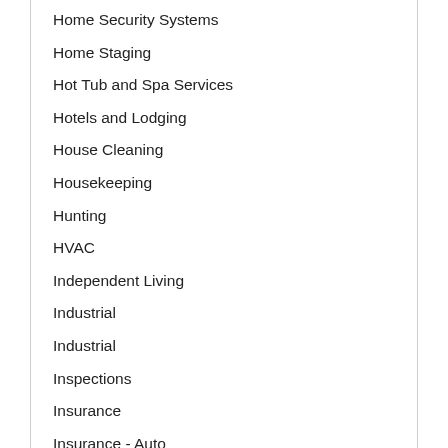Home Security Systems
Home Staging
Hot Tub and Spa Services
Hotels and Lodging
House Cleaning
Housekeeping
Hunting
HVAC
Independent Living
Industrial
Industrial
Inspections
Insurance
Insurance - Auto
Insurance - Home